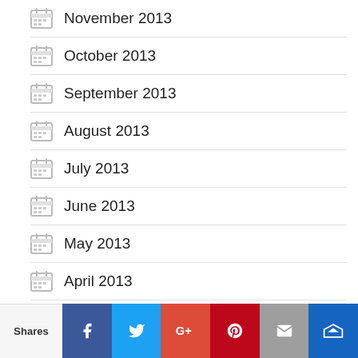November 2013
October 2013
September 2013
August 2013
July 2013
June 2013
May 2013
April 2013
March 2013
February 2013
January 2013
Shares | Facebook | Twitter | Google+ | Pinterest | Email | Crown